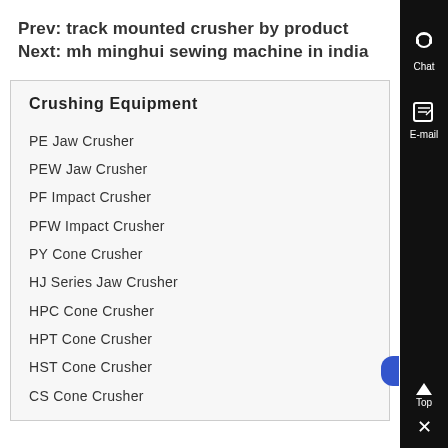Prev: track mounted crusher by product
Next: mh minghui sewing machine in india
Crushing Equipment
PE Jaw Crusher
PEW Jaw Crusher
PF Impact Crusher
PFW Impact Crusher
PY Cone Crusher
HJ Series Jaw Crusher
HPC Cone Crusher
HPT Cone Crusher
HST Cone Crusher
CS Cone Crusher